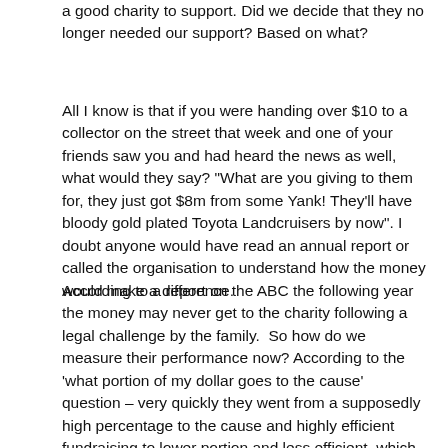a good charity to support. Did we decide that they no longer needed our support? Based on what?
All I know is that if you were handing over $10 to a collector on the street that week and one of your friends saw you and had heard the news as well, what would they say? "What are you giving to them for, they just got $8m from some Yank! They'll have bloody gold plated Toyota Landcruisers by now". I doubt anyone would have read an annual report or called the organisation to understand how the money would make a difference.
According to a report on the ABC the following year the money may never get to the charity following a legal challenge by the family.  So how do we measure their performance now? According to the 'what portion of my dollar goes to the cause' question – very quickly they went from a supposedly high percentage to the cause and highly efficient fundraising to lower portion and less efficient, which means we shouldn't